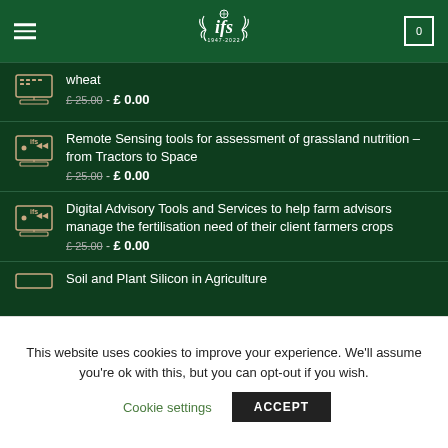IFS 1947-2022
wheat
£25.00 - £0.00
Remote Sensing tools for assessment of grassland nutrition – from Tractors to Space
£25.00 - £0.00
Digital Advisory Tools and Services to help farm advisors manage the fertilisation need of their client farmers crops
£25.00 - £0.00
Soil and Plant Silicon in Agriculture
This website uses cookies to improve your experience. We'll assume you're ok with this, but you can opt-out if you wish. Cookie settings ACCEPT